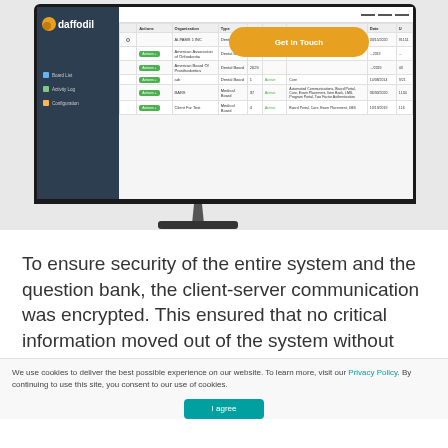[Figure (screenshot): Screenshot of Daffodil software dashboard showing a data table with client records including columns for Actions, organization name, type (Dental Board/Medical Board), number of users, status (Active), descriptions, dates, and user counts. An orange 'Get in Touch' button overlay is visible on the screen. The screenshot is shown inside a monitor display.]
To ensure security of the entire system and the question bank, the client-server communication was encrypted. This ensured that no critical information moved out of the system without unauthorized access.
We use cookies to deliver the best possible experience on our website. To learn more, visit our Privacy Policy. By continuing to use this site, you consent to our use of cookies.